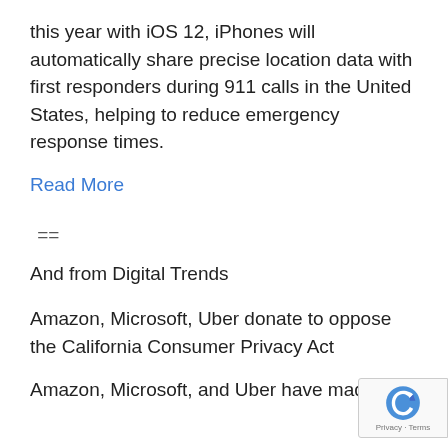this year with iOS 12, iPhones will automatically share precise location data with first responders during 911 calls in the United States, helping to reduce emergency response times.
Read More
==
And from Digital Trends
Amazon, Microsoft, Uber donate to oppose the California Consumer Privacy Act
Amazon, Microsoft, and Uber have made